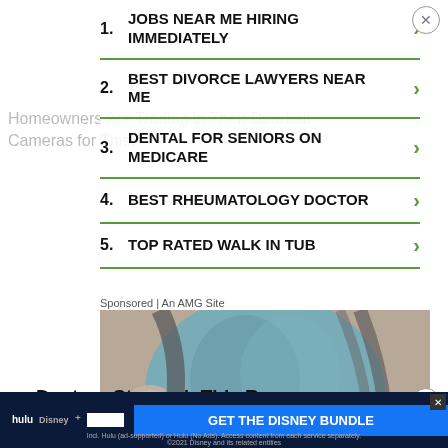1. JOBS NEAR ME HIRING IMMEDIATELY
2. BEST DIVORCE LAWYERS NEAR ME
3. DENTAL FOR SENIORS ON MEDICARE
4. BEST RHEUMATOLOGY DOCTOR
5. TOP RATED WALK IN TUB
Sponsored | An AMG Site
[Figure (photo): Person with blue/grey face mask applied, close-up of lower face showing lips]
Doctors Stunned: This Removes Wrinkles & Eye-bags Like Crazy (Try Tonight)
[Figure (infographic): Disney Bundle advertisement banner: Hulu, Disney+, ESPN+ logos with GET THE DISNEY BUNDLE CTA button]